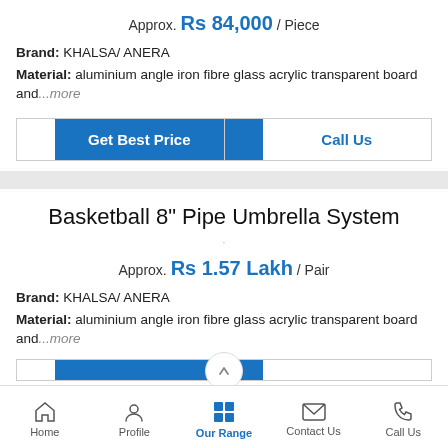Approx. Rs 84,000 / Piece
Brand: KHALSA/ ANERA
Material: aluminium angle iron fibre glass acrylic transparent board and...more
[Figure (other): Get Best Price and Call Us buttons]
Basketball 8" Pipe Umbrella System
Approx. Rs 1.57 Lakh / Pair
Brand: KHALSA/ ANERA
Material: aluminium angle iron fibre glass acrylic transparent board and...more
Home  Profile  Our Range  Contact Us  Call Us